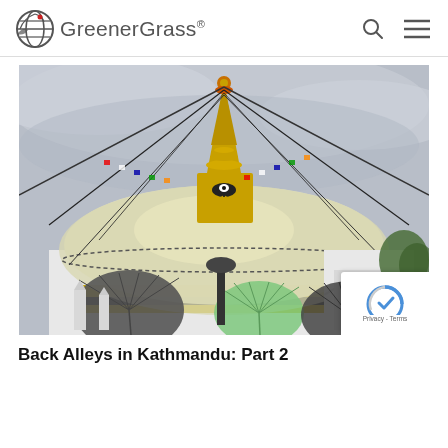GreenerGrass®
[Figure (photo): Photograph of Boudhanath Stupa in Kathmandu, Nepal. The large white dome stupa with golden spire is visible, with prayer flags extending from the top in all directions. People with umbrellas are visible in the foreground on a cloudy day.]
Back Alleys in Kathmandu: Part 2